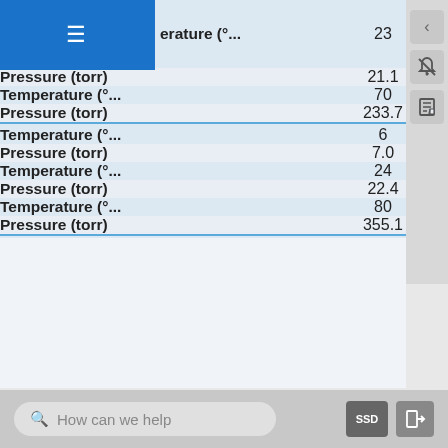| Parameter | Value |
| --- | --- |
| Temperature (°... | 23 |
| Pressure (torr) | 21.1 |
| Temperature (°... | 70 |
| Pressure (torr) | 233.7 |
| Temperature (°... | 6 |
| Pressure (torr) | 7.0 |
| Temperature (°... | 24 |
| Pressure (torr) | 22.4 |
| Temperature (°... | 80 |
| Pressure (torr) | 355.1 |